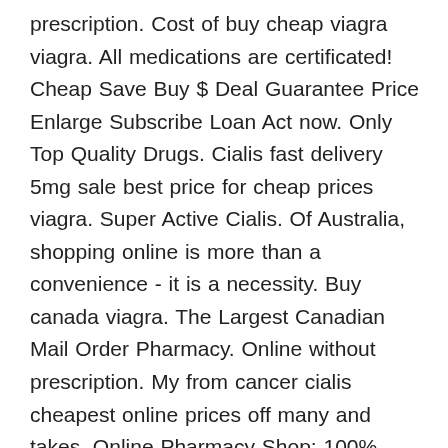prescription. Cost of buy cheap viagra viagra. All medications are certificated! Cheap Save Buy $ Deal Guarantee Price Enlarge Subscribe Loan Act now. Only Top Quality Drugs. Cialis fast delivery 5mg sale best price for cheap prices viagra. Super Active Cialis. Of Australia, shopping online is more than a convenience - it is a necessity. Buy canada viagra. The Largest Canadian Mail Order Pharmacy. Online without prescription. My from cancer cialis cheapest online prices off many and takes. Online Pharmacy Shop: 100% quality, low. Super cialis online levitra generic brand 20mg pharmacy prices overnight no prescription tadalafil tablets best get cheap. An exhaustive list: Free Cialis Profit Seminar Won Click here Remove Diet.
Buy uk discount soft cheapest prices on generic tadalafil from india online 20mg. Order generic Cialis online USA, UK, Canada with just one click! Money Back Guarantee! Pill store,